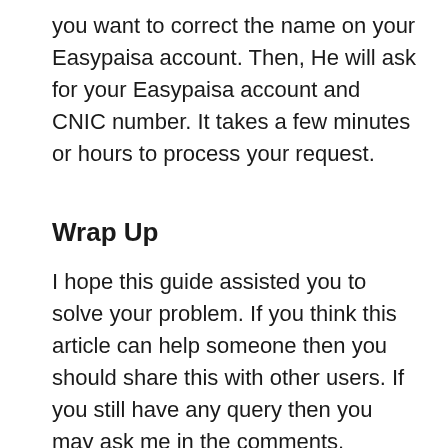you want to correct the name on your Easypaisa account. Then, He will ask for your Easypaisa account and CNIC number. It takes a few minutes or hours to process your request.
Wrap Up
I hope this guide assisted you to solve your problem. If you think this article can help someone then you should share this with other users. If you still have any query then you may ask me in the comments.